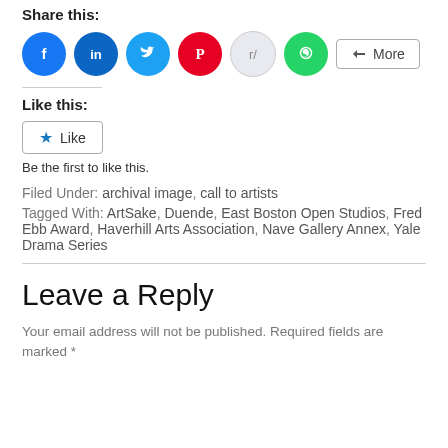Share this:
[Figure (infographic): Social share buttons: Facebook (blue circle), LinkedIn (blue circle), Twitter (cyan circle), Pinterest (red circle), Reddit (light gray circle), WhatsApp (green circle), and a More button]
Like this:
[Figure (infographic): Like button with a blue star icon and the text Like]
Be the first to like this.
Filed Under: archival image, call to artists
Tagged With: ArtSake, Duende, East Boston Open Studios, Fred Ebb Award, Haverhill Arts Association, Nave Gallery Annex, Yale Drama Series
Leave a Reply
Your email address will not be published. Required fields are marked *